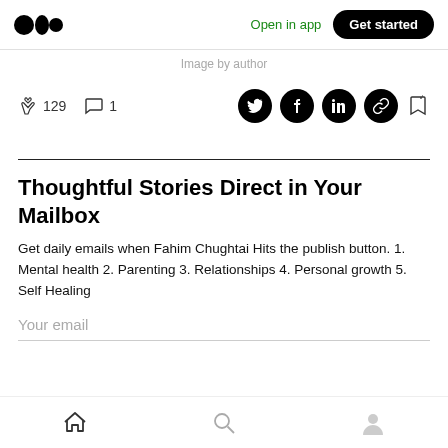Medium logo | Open in app | Get started
Image by author
[Figure (infographic): Reaction bar with clap icon showing 129, comment icon showing 1, and social share icons for Twitter, Facebook, LinkedIn, link, and bookmark]
Thoughtful Stories Direct in Your Mailbox
Get daily emails when Fahim Chughtai Hits the publish button. 1. Mental health 2. Parenting 3. Relationships 4. Personal growth 5. Self Healing
Your email
Home | Search | Profile